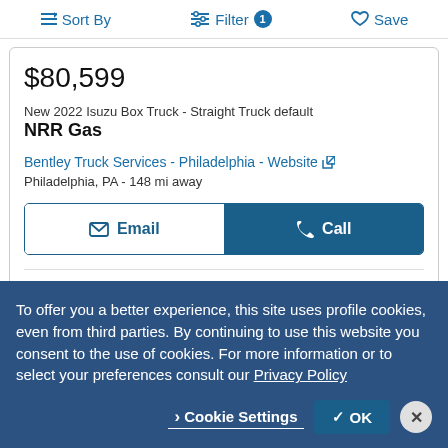Sort By  Filter 1  Save
$80,599
New 2022 Isuzu Box Truck - Straight Truck default
NRR Gas
Bentley Truck Services - Philadelphia - Website
Philadelphia, PA - 148 mi away
Email  Call
View our 3 other Bentley Group locations
To offer you a better experience, this site uses profile cookies, even from third parties. By continuing to use this website you consent to the use of cookies. For more information or to select your preferences consult our Privacy Policy
Cookie Settings  OK